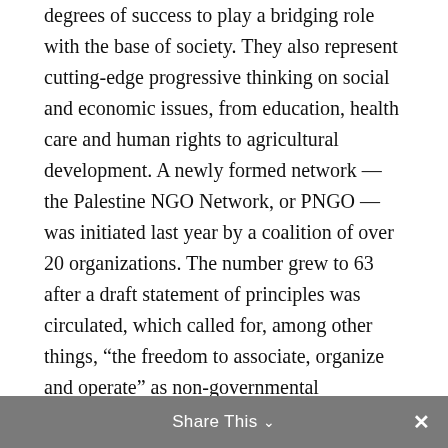degrees of success to play a bridging role with the base of society. They also represent cutting-edge progressive thinking on social and economic issues, from education, health care and human rights to agricultural development. A newly formed network — the Palestine NGO Network, or PNGO — was initiated last year by a coalition of over 20 organizations. The number grew to 63 after a draft statement of principles was circulated, which called for, among other things, “the freedom to associate, organize and operate” as non-governmental organizations under the new PA. This initiative was driven in part by indications that the Authority was moving to restrict the role of independent organizations,
Share This ∨  ✕